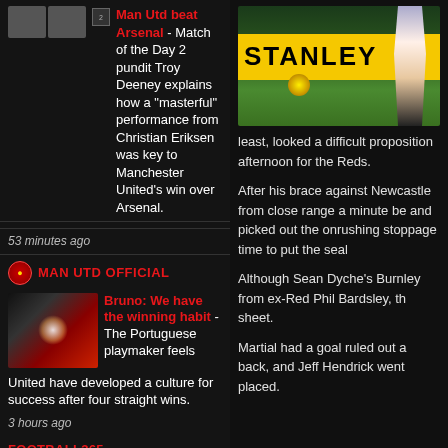Man Utd beat Arsenal - Match of the Day 2 pundit Troy Deeney explains how a "masterful" performance from Christian Eriksen was key to Manchester United's win over Arsenal.
53 minutes ago
MAN UTD OFFICIAL
Bruno: We have the winning habit - The Portuguese playmaker feels United have developed a culture for success after four straight wins.
3 hours ago
FOOTBALL365
16 Conclusions on Manchester United 3-1 Arsenal – Arteta, Antony, Eriksen and more
3 hours ago
FOOTBALL.CO.UK
[Figure (photo): Football match photo showing Stanley advertising board in yellow, player in white, and football on green pitch]
least, looked a difficult proposition afternoon for the Reds.
After his brace against Newcastle from close range a minute before and picked out the onrushing stoppage time to put the seal
Although Sean Dyche's Burnley from ex-Red Phil Bardsley, the sheet.
Martial had a goal ruled out a back, and Jeff Hendrick went placed.